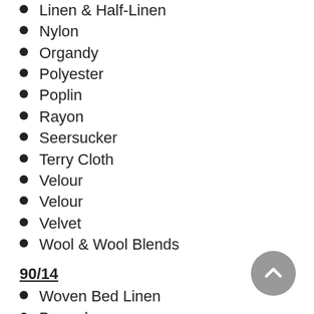Linen & Half-Linen
Nylon
Organdy
Polyester
Poplin
Rayon
Seersucker
Terry Cloth
Velour
Velour
Velvet
Wool & Wool Blends
90/14
Woven Bed Linen
Brocade
Chambray
Chenille
Corduroy